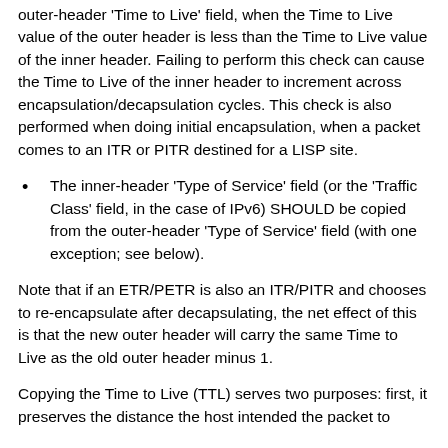outer-header 'Time to Live' field, when the Time to Live value of the outer header is less than the Time to Live value of the inner header. Failing to perform this check can cause the Time to Live of the inner header to increment across encapsulation/decapsulation cycles. This check is also performed when doing initial encapsulation, when a packet comes to an ITR or PITR destined for a LISP site.
The inner-header 'Type of Service' field (or the 'Traffic Class' field, in the case of IPv6) SHOULD be copied from the outer-header 'Type of Service' field (with one exception; see below).
Note that if an ETR/PETR is also an ITR/PITR and chooses to re-encapsulate after decapsulating, the net effect of this is that the new outer header will carry the same Time to Live as the old outer header minus 1.
Copying the Time to Live (TTL) serves two purposes: first, it preserves the distance the host intended the packet to